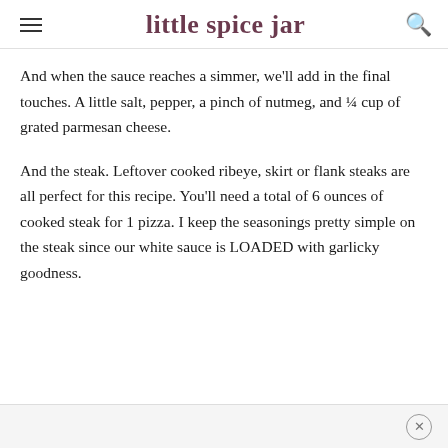little spice jar
And when the sauce reaches a simmer, we'll add in the final touches. A little salt, pepper, a pinch of nutmeg, and ¼ cup of grated parmesan cheese.
And the steak. Leftover cooked ribeye, skirt or flank steaks are all perfect for this recipe. You'll need a total of 6 ounces of cooked steak for 1 pizza. I keep the seasonings pretty simple on the steak since our white sauce is LOADED with garlicky goodness.
×